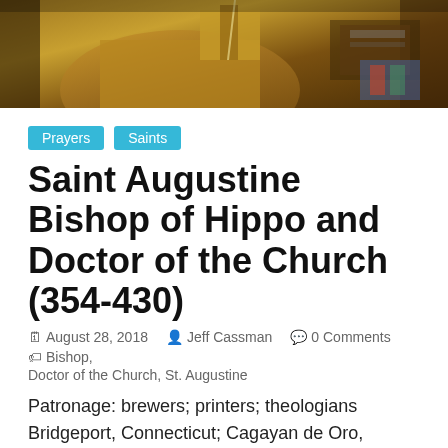[Figure (photo): Partial view of a painted portrait of a religious figure (likely Saint Augustine) in golden/brown robes, holding a quill or stylus, with books visible in the background.]
Prayers
Saints
Saint Augustine Bishop of Hippo and Doctor of the Church (354-430)
August 28, 2018   Jeff Cassman   0 Comments   Bishop, Doctor of the Church, St. Augustine
Patronage: brewers; printers; theologians Bridgeport, Connecticut; Cagayan de Oro, Philippines;San Agustin, Isabela;
Saint Augustine was born in 354 at Tagaste in Africa. He was brought up in the Christian faith but did not receive baptism, result of the practice, common in the first centuries, of deferring it until adulthood. An ambitious